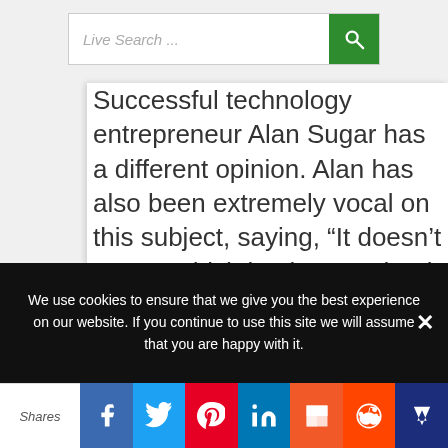[Figure (screenshot): Live Search bar with green search button]
Successful technology entrepreneur Alan Sugar has a different opinion. Alan has also been extremely vocal on this subject, saying, “It doesn’t matter which business school you go to or
We use cookies to ensure that we give you the best experience on our website. If you continue to use this site we will assume that you are happy with it.
[Figure (infographic): Social share bar with Facebook, Twitter, Pinterest, LinkedIn, Flipboard, Reddit, and crown icon buttons]